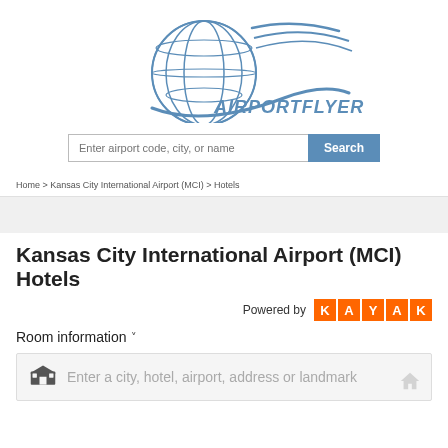[Figure (logo): AirportFlyer.com logo with globe and speed lines]
[Figure (screenshot): Search bar with 'Enter airport code, city, or name' input and blue 'Search' button]
Home > Kansas City International Airport (MCI) > Hotels
Kansas City International Airport (MCI) Hotels
[Figure (logo): KAYAK logo - orange tiles spelling K A Y A K]
Room information
[Figure (screenshot): Hotel search input: Enter a city, hotel, airport, address or landmark]